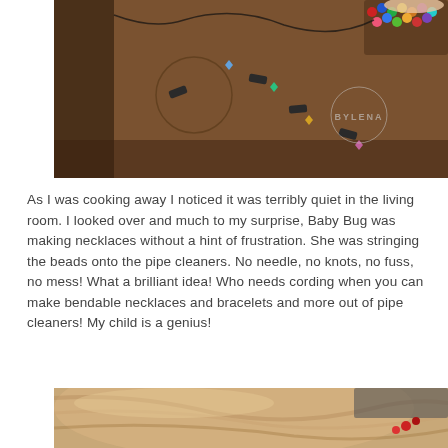[Figure (photo): Overhead view of a wooden table with beads, jewelry pieces, pipe cleaners, and a colorful beaded bracelet/necklace being made. A watermark reads 'BY LENA'. A child's hand is visible at the top right.]
As I was cooking away I noticed it was terribly quiet in the living room. I looked over and much to my surprise, Baby Bug was making necklaces without a hint of frustration. She was stringing the beads onto the pipe cleaners. No needle, no knots, no fuss, no mess! What a brilliant idea! Who needs cording when you can make bendable necklaces and bracelets and more out of pipe cleaners! My child is a genius!
[Figure (photo): Close-up photo of a child with light/blonde hair seen from above, with a red beaded accessory visible on the right side.]